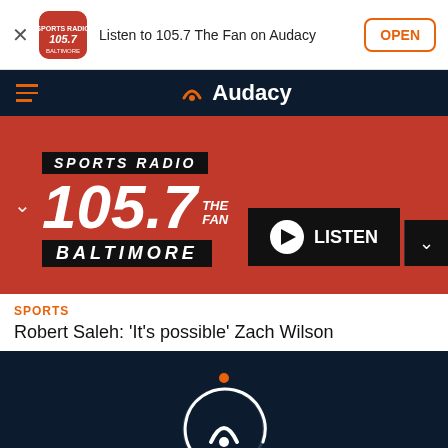[Figure (screenshot): App install banner for '105.7 The Fan' on Audacy with close button, app icon, description text, and OPEN button]
Listen to 105.7 The Fan on Audacy
[Figure (logo): Audacy navigation bar with hamburger menu and Audacy logo]
[Figure (screenshot): Sports Radio 105.7 The Fan Baltimore station banner in red with LISTEN button]
SPORTS
Robert Saleh: 'It’s possible' Zach Wilson
[Figure (other): Dark loading screen with Audacy logo spinner and orange dot]